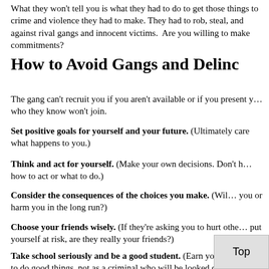What they won't tell you is what they had to do to get those things to crime and violence they had to make. They had to rob, steal, and against rival gangs and innocent victims. Are you willing to make commitments?
How to Avoid Gangs and Delinc…
The gang can't recruit you if you aren't available or if you present y… who they know won't join.
Set positive goals for yourself and your future. (Ultimately care what happens to you.)
Think and act for yourself. (Make your own decisions. Don't h… how to act or what to do.)
Consider the consequences of the choices you make. (Wil… you or harm you in the long run?)
Choose your friends wisely. (If they're asking you to hurt othe… put yourself at risk, are they really your friends?)
Take school seriously and be a good student. (Earn your res… tries to do good things, not as a criminal who will be looked down…